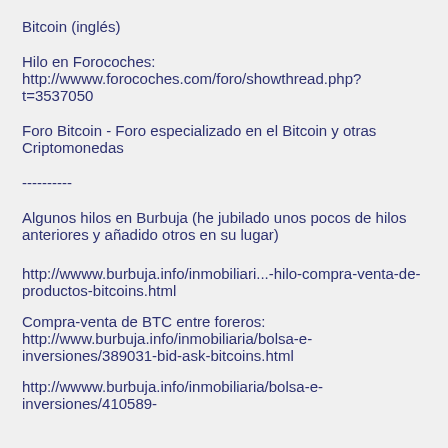Bitcoin (inglés)
Hilo en Forocoches:
http://wwww.forocoches.com/foro/showthread.php?t=3537050
Foro Bitcoin - Foro especializado en el Bitcoin y otras Criptomonedas
----------
Algunos hilos en Burbuja (he jubilado unos pocos de hilos anteriores y añadido otros en su lugar)
http://wwww.burbuja.info/inmobiliari...-hilo-compra-venta-de-productos-bitcoins.html
Compra-venta de BTC entre foreros:
http://www.burbuja.info/inmobiliaria/bolsa-e-inversiones/389031-bid-ask-bitcoins.html
http://wwww.burbuja.info/inmobiliaria/bolsa-e-inversiones/410589-